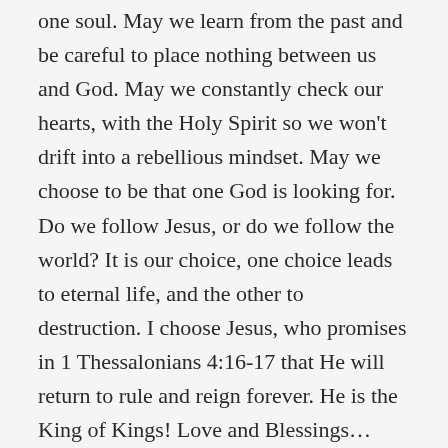one soul. May we learn from the past and be careful to place nothing between us and God. May we constantly check our hearts, with the Holy Spirit so we won't drift into a rebellious mindset. May we choose to be that one God is looking for. Do we follow Jesus, or do we follow the world? It is our choice, one choice leads to eternal life, and the other to destruction. I choose Jesus, who promises in 1 Thessalonians 4:16-17 that He will return to rule and reign forever. He is the King of Kings! Love and Blessings…
“But tell the people of Jerusalem that the Lord says, “I will give you a choice between two courses of action. One will result in life; the other will result in death. Those who stay in this city will die in battle or of starvation or disease. Those who leave the city and